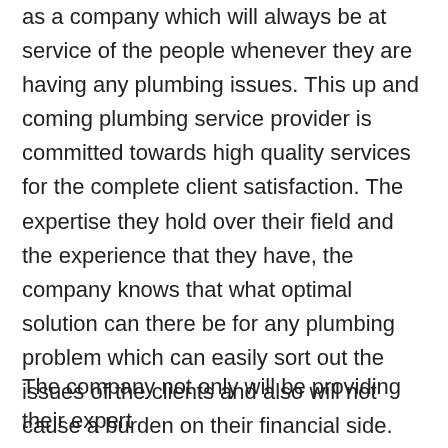as a company which will always be at service of the people whenever they are having any plumbing issues. This up and coming plumbing service provider is committed towards high quality services for the complete client satisfaction. The expertise they hold over their field and the experience that they have, the company knows that what optimal solution can there be for any plumbing problem which can easily sort out the issues of the clients and also will not cause a burden on their financial side.
The company not only will be providing their expert